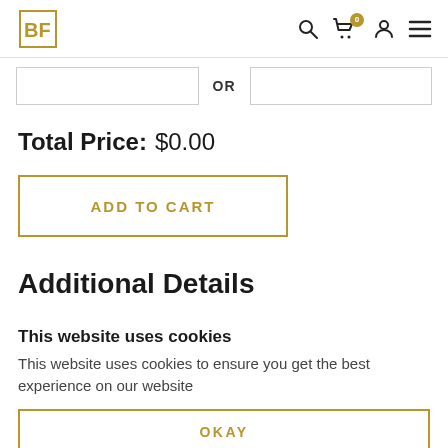BF logo with navigation icons (search, cart with 0 badge, user, menu)
OR
Total Price: $0.00
ADD TO CART
Additional Details
This website uses cookies
This website uses cookies to ensure you get the best experience on our website
OKAY